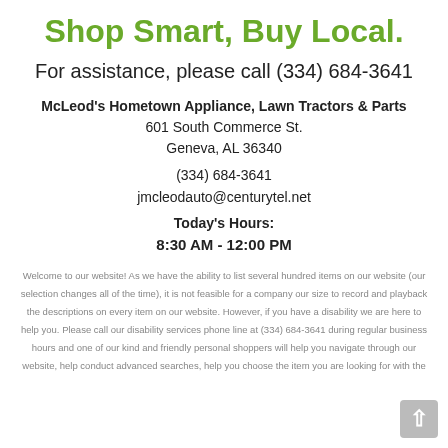Shop Smart, Buy Local.
For assistance, please call (334) 684-3641
McLeod's Hometown Appliance, Lawn Tractors & Parts
601 South Commerce St.
Geneva, AL 36340
(334) 684-3641
jmcleodauto@centurytel.net
Today's Hours:
8:30 AM - 12:00 PM
Welcome to our website! As we have the ability to list several hundred items on our website (our selection changes all of the time), it is not feasible for a company our size to record and playback the descriptions on every item on our website. However, if you have a disability we are here to help you. Please call our disability services phone line at (334) 684-3641 during regular business hours and one of our kind and friendly personal shoppers will help you navigate through our website, help conduct advanced searches, help you choose the item you are looking for with the